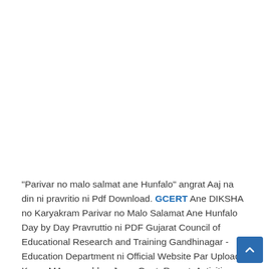"Parivar no malo salmat ane Hunfalo" angrat Aaj na din ni pravritio ni Pdf Download. GCERT Ane DIKSHA no Karyakram Parivar no Malo Salamat Ane Hunfalo Day by Day Pravruttio ni PDF Gujarat Council of Educational Research and Training Gandhinagar - Education Department ni Official Website Par Upload Karva MA aave chhe. Jema Geet, Ramat, Activities, Balvarta, Jantar Matra, Sandesh, etc Pravruttio Aapva ma Aave